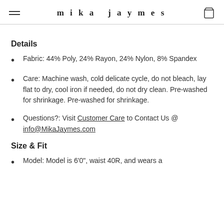mika jaymes
Details
Fabric: 44% Poly, 24% Rayon, 24% Nylon, 8% Spandex
Care: Machine wash, cold delicate cycle, do not bleach, lay flat to dry, cool iron if needed, do not dry clean. Pre-washed for shrinkage. Pre-washed for shrinkage.
Questions?: Visit Customer Care to Contact Us @ info@MikaJaymes.com
Size & Fit
Model: Model is 6'0", waist 40R, and wears a